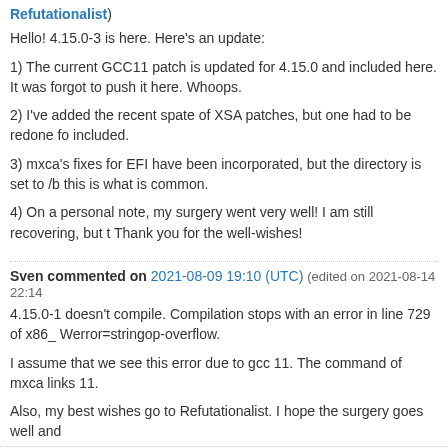Refutationalist)
Hello! 4.15.0-3 is here. Here's an update:
1) The current GCC11 patch is updated for 4.15.0 and included here. It was forgot to push it here. Whoops.
2) I've added the recent spate of XSA patches, but one had to be redone fo included.
3) mxca's fixes for EFI have been incorporated, but the directory is set to /b this is what is common.
4) On a personal note, my surgery went very well! I am still recovering, but t Thank you for the well-wishes!
Sven commented on 2021-08-09 19:10 (UTC) (edited on 2021-08-14 22:14
4.15.0-1 doesn't compile. Compilation stops with an error in line 729 of x86_ Werror=stringop-overflow.
I assume that we see this error due to gcc 11. The command of mxca links 11.
Also, my best wishes go to Refutationalist. I hope the surgery goes well and
mxca commented on 2021-05-27 14:32 (UTC) (edited on 2021-05-27 21:42
I came across this patch to get Xen building with GCC 11.